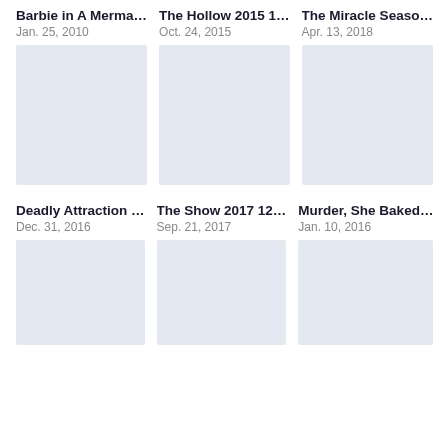Barbie in A Merma…
Jan. 25, 2010
The Hollow 2015 1…
Oct. 24, 2015
The Miracle Seaso…
Apr. 13, 2018
[Figure (illustration): Movie/show poster placeholder (light blue-grey rectangle), row 1 col 1]
[Figure (illustration): Movie/show poster placeholder (light blue-grey rectangle), row 1 col 2]
[Figure (illustration): Movie/show poster placeholder (light blue-grey rectangle), row 1 col 3]
Deadly Attraction …
Dec. 31, 2016
The Show 2017 12…
Sep. 21, 2017
Murder, She Baked…
Jan. 10, 2016
[Figure (illustration): Movie/show poster placeholder (light blue-grey rectangle), row 2 col 1]
[Figure (illustration): Movie/show poster placeholder (light blue-grey rectangle), row 2 col 2]
[Figure (illustration): Movie/show poster placeholder (light blue-grey rectangle), row 2 col 3]